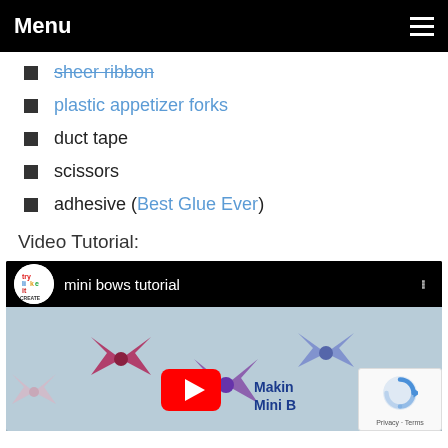Menu
sheer ribbon
plastic appetizer forks
duct tape
scissors
adhesive (Best Glue Ever)
Video Tutorial:
[Figure (screenshot): YouTube video embed showing 'mini bows tutorial' by try like it CREATE channel, with thumbnail of colorful mini bows made from plastic appetizer forks and a YouTube play button overlay. A reCAPTCHA badge appears in the bottom right corner.]